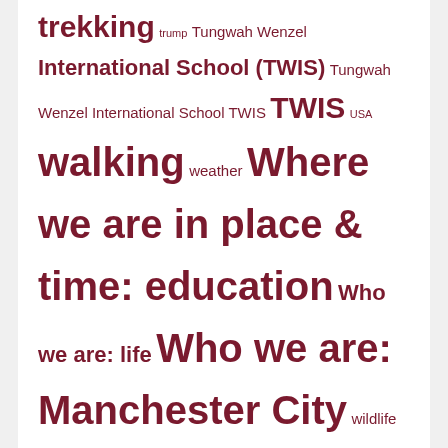trekking trump Tungwah Wenzel International School (TWIS) Tungwah Wenzel International School TWIS TWIS USA walking weather Where we are in place & time: education Who we are: life Who we are: Manchester City wildlife words writing Yunnan
SHENZHEN BLUES
STUFF FROM THAT BIRD PLACE